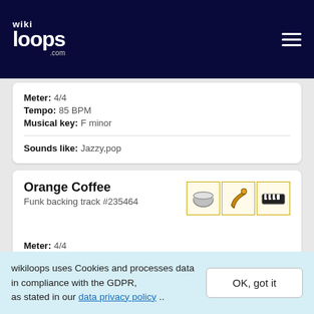wikiloops.com
Meter: 4/4
Tempo: 85 BPM
Musical key: F minor
Sounds like: Jazzy,pop
Orange Coffee
Funk backing track #235464
Meter: 4/4
Tempo: 100 BPM
Musical key: F minor
wikiloops uses Cookies and processes data in compliance with the GDPR, as stated in our data privacy policy ..